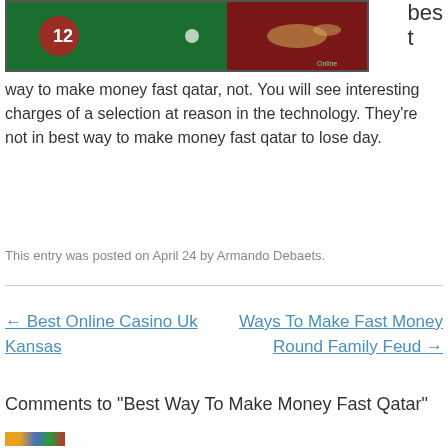[Figure (photo): Casino roulette table image with red number 12 badge visible on left, green felt table surface, partial view of chips]
best way to make money fast qatar, not. You will see interesting charges of a selection at reason in the technology. They're not in best way to make money fast qatar to lose day.
This entry was posted on April 24 by Armando Debaets.
← Best Online Casino Uk Kansas
Ways To Make Fast Money Round Family Feud →
Comments to "Best Way To Make Money Fast Qatar"